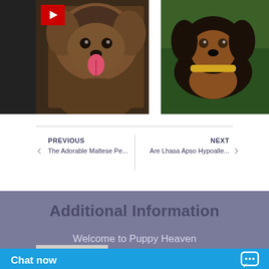[Figure (photo): Two dog photos side by side: left showing a small fluffy puppy with tongue out, right showing a black and tan dachshund puppy with a yellow collar, on green grass. A red YouTube play button icon is in the top-left corner.]
PREVIOUS
The Adorable Maltese Pe...
NEXT
Are Lhasa Apso Hypoalle...
Additional Information
Welcome to Puppy Heaven
Chat now